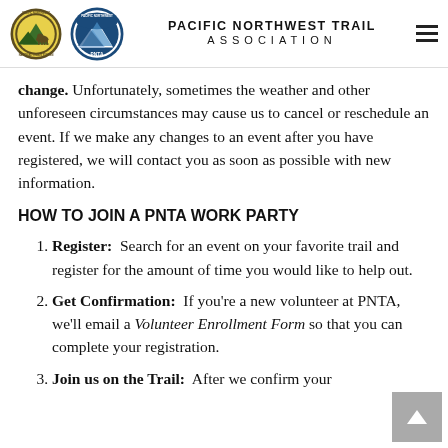PACIFIC NORTHWEST TRAIL ASSOCIATION
change. Unfortunately, sometimes the weather and other unforeseen circumstances may cause us to cancel or reschedule an event. If we make any changes to an event after you have registered, we will contact you as soon as possible with new information.
HOW TO JOIN A PNTA WORK PARTY
Register: Search for an event on your favorite trail and register for the amount of time you would like to help out.
Get Confirmation: If you're a new volunteer at PNTA, we'll email a Volunteer Enrollment Form so that you can complete your registration.
Join us on the Trail: After we confirm your